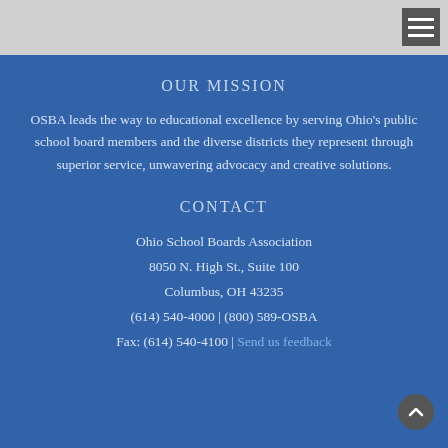[Figure (other): Top gray header bar with hamburger menu icon in top right corner]
OUR MISSION
OSBA leads the way to educational excellence by serving Ohio's public school board members and the diverse districts they represent through superior service, unwavering advocacy and creative solutions.
CONTACT
Ohio School Boards Association
8050 N. High St., Suite 100
Columbus, OH 43235
(614) 540-4000 | (800) 589-OSBA
Fax: (614) 540-4100 | Send us feedback